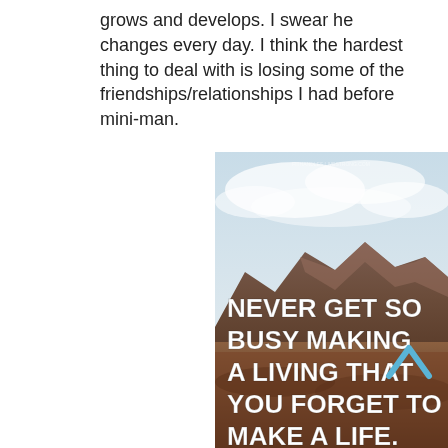grows and develops. I swear he changes every day. I think the hardest thing to deal with is losing some of the friendships/relationships I had before mini-man.
[Figure (illustration): Motivational quote image over a mountain landscape photo. White bold text reads: NEVER GET SO BUSY MAKING A LIVING THAT YOU FORGET TO MAKE A LIFE.]